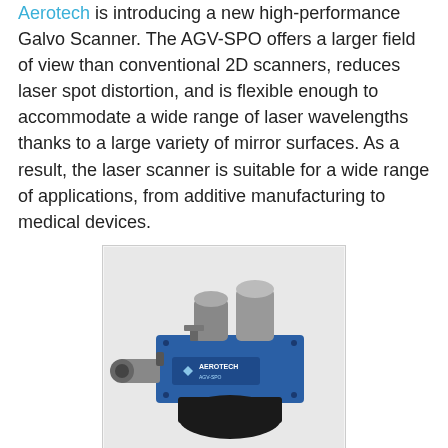Aerotech is introducing a new high-performance Galvo Scanner. The AGV-SPO offers a larger field of view than conventional 2D scanners, reduces laser spot distortion, and is flexible enough to accommodate a wide range of laser wavelengths thanks to a large variety of mirror surfaces. As a result, the laser scanner is suitable for a wide range of applications, from additive manufacturing to medical devices.
[Figure (photo): Photo of the Aerotech AGV-SPO Galvo Scanner device, a blue and black rectangular unit with two cylindrical ports on top, one port on the left side, mounted on a black base, with the Aerotech logo on the front panel.]
With just one pivot point for X and Y deflection, Aerotech's AGV-SPO Galvo Scanner significantly increases the field of view, reducing laser spot distortion in critical laser micromachining applications. Due to the special optical design, the entrance pupil of the laser beam coincides with the X and Y deflecting mirrors, increasing the effective